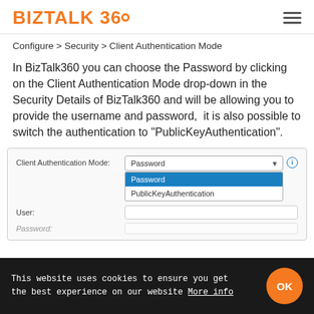BizTalk 360
Configure > Security > Client Authentication Mode
In BizTalk360 you can choose the Password by clicking on the Client Authentication Mode drop-down in the Security Details of BizTalk360 and will be allowing you to provide the username and password,  it is also possible to switch the authentication to "PublicKeyAuthentication".
[Figure (screenshot): UI screenshot showing Client Authentication Mode dropdown with options: Password (selected, highlighted in blue) and PublicKeyAuthentication, plus User and Password fields]
This website uses cookies to ensure you get the best experience on our website More info